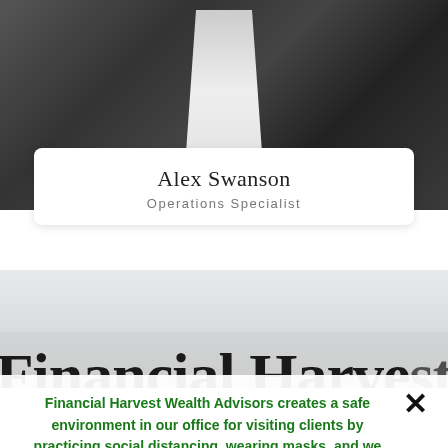[Figure (photo): Black and white photo of a person in a suit jacket, cropped to show torso and lower face area]
Alex Swanson
Operations Specialist
[Figure (other): Light grey background area with green horizontal rule separator and partial large text reading 'Financial Harve...']
Financial Harvest Wealth Advisors creates a safe environment in our office for visiting clients by practicing social distancing, wearing masks, and we have installed UV lights in our A/C system. Or, we'll work with you via Zoom or telephone conference. Your health, well-being, and peace of mind is our primary concern.